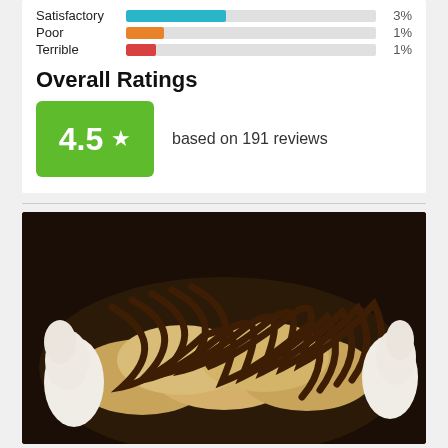[Figure (infographic): Rating bars for Satisfactory (3%, teal), Poor (1%, orange), Terrible (1%, red) shown as horizontal bar chart rows]
Overall Ratings
[Figure (infographic): Green badge showing 4.5 star rating with text 'based on 191 reviews']
[Figure (photo): Close-up photo of crepes or pancake rolls drizzled with chocolate sauce, served with whipped cream on a dark plate]